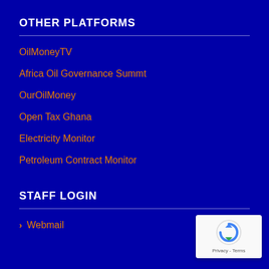OTHER PLATFORMS
OilMoneyTV
Africa Oil Governance Summt
OurOilMoney
Open Tax Ghana
Electricity Monitor
Petroleum Contract Monitor
STAFF LOGIN
Webmail
[Figure (logo): reCAPTCHA badge with circular arrow logo and Privacy - Terms text]